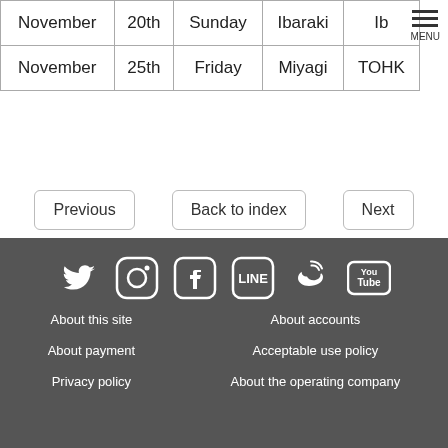| Month | Day | Weekday | Prefecture | Venue |
| --- | --- | --- | --- | --- |
| November | 20th | Sunday | Ibaraki | Ib... |
| November | 25th | Friday | Miyagi | TOHK... |
Previous | Back to index | Next
[Figure (infographic): Social media icons: Twitter, Instagram, Facebook, LINE, Weibo, YouTube]
About this site | About accounts | About payment | Acceptable use policy | Privacy policy | About the operating company